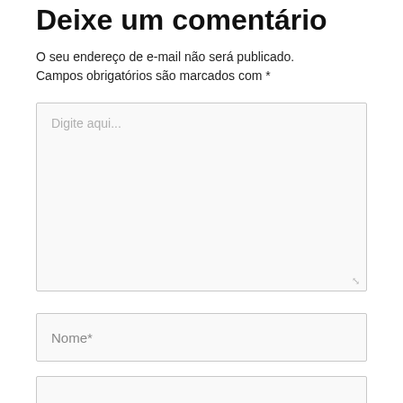Deixe um comentário
O seu endereço de e-mail não será publicado. Campos obrigatórios são marcados com *
[Figure (screenshot): Large text input area with placeholder text 'Digite aqui...' and a resize handle in the bottom-right corner]
[Figure (screenshot): Text input field with placeholder text 'Nome*']
[Figure (screenshot): Empty text input field at the bottom]